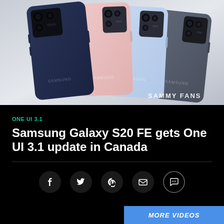[Figure (photo): Four Samsung Galaxy S20 FE smartphones shown from the back in four colors: navy blue, pink, light blue, and dark gray, arranged overlapping each other against a light gray/white background. Watermark reads SAMMY FANS.]
ONE UI 3.1
Samsung Galaxy S20 FE gets One UI 3.1 update in Canada
[Figure (infographic): Social sharing icons: Facebook (f), Twitter (bird), Pinterest (P), Email (envelope), and Chat/comment (speech bubble with dots). Each icon is white on a dark circular background.]
MORE VIDEOS